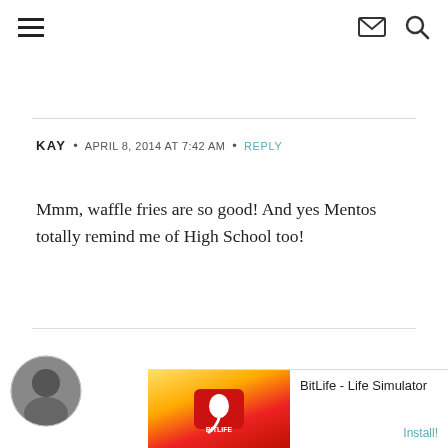Navigation header with hamburger menu, mail icon, and search icon
KAY  •  APRIL 8, 2014 AT 7:42 AM  •  REPLY
Mmm, waffle fries are so good! And yes Mentos totally remind me of High School too!
[Figure (photo): Partial avatar/profile photo circle at bottom left]
Ad  BitLife - Life Simulator  Install!